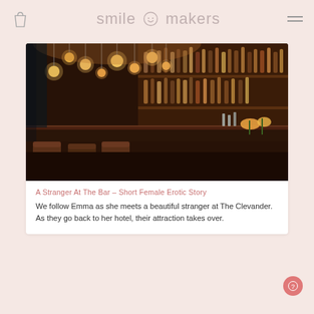smile makers
[Figure (photo): Interior of a moody bar restaurant with warm Edison bulb pendant lights, dark wood bar counter, bar stools, shelves lined with bottles of alcohol, and floral arrangements on the bar.]
A Stranger At The Bar – Short Female Erotic Story
We follow Emma as she meets a beautiful stranger at The Clevander. As they go back to her hotel, their attraction takes over.